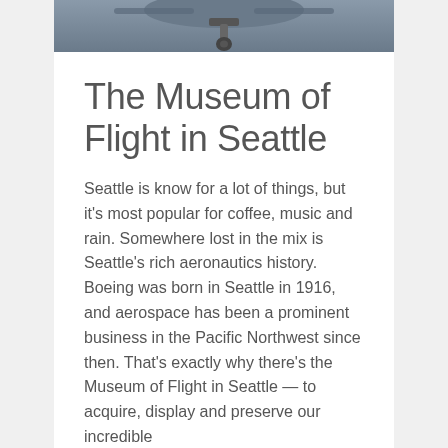[Figure (photo): Bottom portion of an aircraft showing landing gear, viewed from below, with a grayish background.]
The Museum of Flight in Seattle
Seattle is know for a lot of things, but it's most popular for coffee, music and rain. Somewhere lost in the mix is Seattle's rich aeronautics history. Boeing was born in Seattle in 1916, and aerospace has been a prominent business in the Pacific Northwest since then. That's exactly why there's the Museum of Flight in Seattle — to acquire, display and preserve our incredible